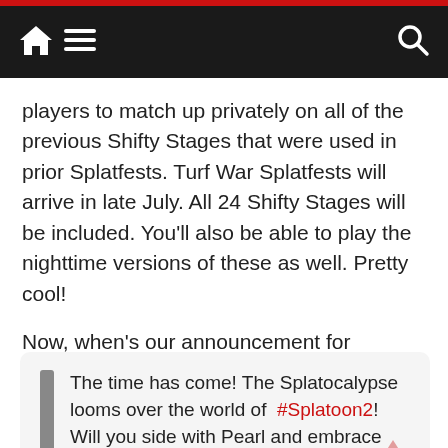Navigation bar with home, menu, and search icons
players to match up privately on all of the previous Shifty Stages that were used in prior Splatfests. Turf War Splatfests will arrive in late July. All 24 Shifty Stages will be included. You'll also be able to play the nighttime versions of these as well. Pretty cool!
Now, when's our announcement for Splatoon 3?
The time has come! The Splatocalypse looms over the world of #Splatoon2! Will you side with Pearl and embrace #TeamChaos, or join Marina and